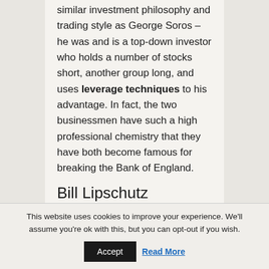similar investment philosophy and trading style as George Soros – he was and is a top-down investor who holds a number of stocks short, another group long, and uses leverage techniques to his advantage. In fact, the two businessmen have such a high professional chemistry that they have both become famous for breaking the Bank of England.
Bill Lipschutz
This website uses cookies to improve your experience. We'll assume you're ok with this, but you can opt-out if you wish. Accept Read More